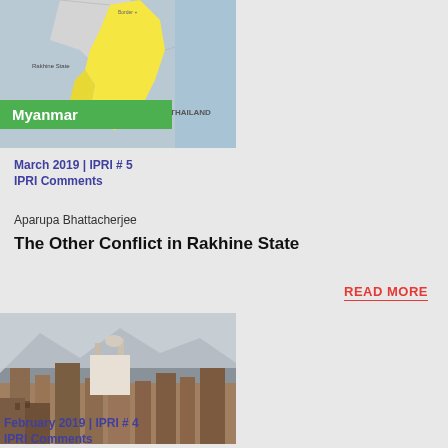[Figure (map): Map of Myanmar with Rakhine State highlighted, with a green label overlay reading 'Myanmar']
March 2019 | IPRI # 5
IPRI Comments
Aparupa Bhattacherjee
The Other Conflict in Rakhine State
READ MORE
[Figure (photo): Cityscape of a West Asian city showing old buildings, minarets and mountains in the background, with a purple label overlay reading 'West Asia']
February 2019 | IPRI # 4
IPRI Comments